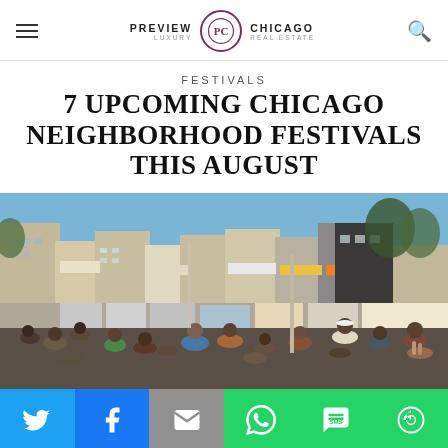Preview Chicago Luxury Real Estate
FESTIVALS
7 UPCOMING CHICAGO NEIGHBORHOOD FESTIVALS THIS AUGUST
[Figure (photo): Large crowd of people at a Chicago neighborhood street festival, with storefronts visible in the background at dusk/evening.]
Share buttons: Twitter, Facebook, Email, WhatsApp, SMS, More